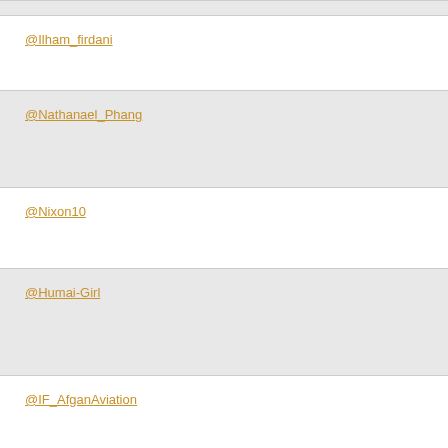@Ilham_firdani
@Nathanael_Phang
@Nixon10
@Humai-Girl
@IF_AfganAviation